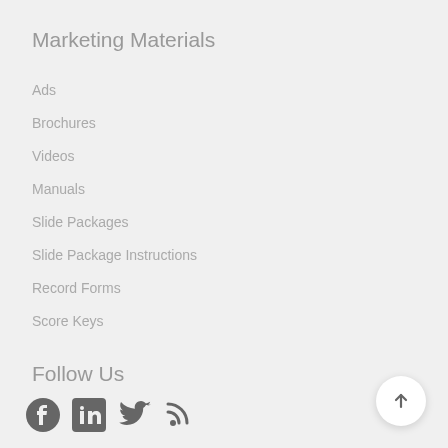Marketing Materials
Ads
Brochures
Videos
Manuals
Slide Packages
Slide Package Instructions
Record Forms
Score Keys
Follow Us
[Figure (other): Social media icons: Facebook, LinkedIn, Twitter, RSS feed]